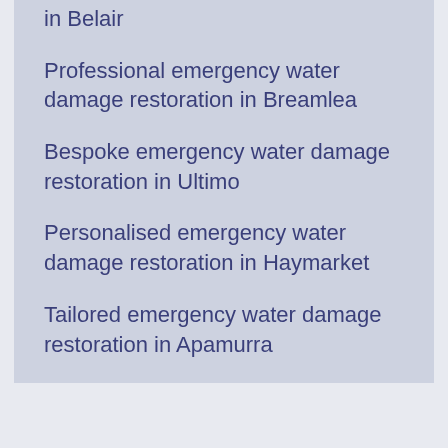in Belair
Professional emergency water damage restoration in Breamlea
Bespoke emergency water damage restoration in Ultimo
Personalised emergency water damage restoration in Haymarket
Tailored emergency water damage restoration in Apamurra
Same-day water damage restoration in